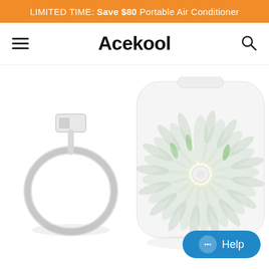LIMITED TIME: Save $80 Portable Air Conditioner
Acekool
[Figure (photo): Acekool brand website screenshot showing: orange promotional banner at top reading 'LIMITED TIME: Save $80 Portable Air Conditioner', navigation bar with hamburger menu, Acekool logo, and search icon, product images showing a USB cable coil on the left and a white portable desk fan with spinning blades on the right, plus a teal 'Help' chat button in the bottom right corner.]